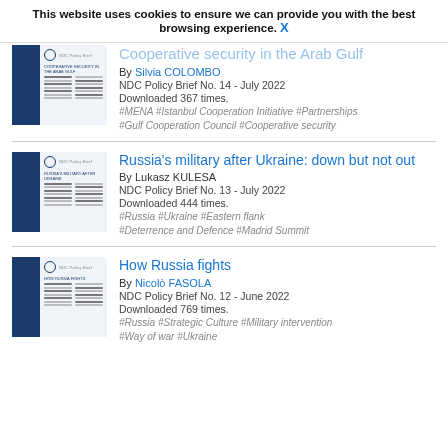This website uses cookies to ensure we can provide you with the best browsing experience. X
Cooperative security in the Arab Gulf
By Silvia COLOMBO
NDC Policy Brief No. 14 - July 2022
Downloaded 367 times.
#MENA #Istanbul Cooperation Initiative #Partnerships #Gulf Cooperation Council #Cooperative security
Russia's military after Ukraine: down but not out
By Lukasz KULESA
NDC Policy Brief No. 13 - July 2022
Downloaded 444 times.
#Russia #Ukraine #Eastern flank #Deterrence and Defence #Madrid Summit
How Russia fights
By Nicolò FASOLA
NDC Policy Brief No. 12 - June 2022
Downloaded 769 times.
#Russia #Strategic Culture #Military intervention #Way of war #Ukraine